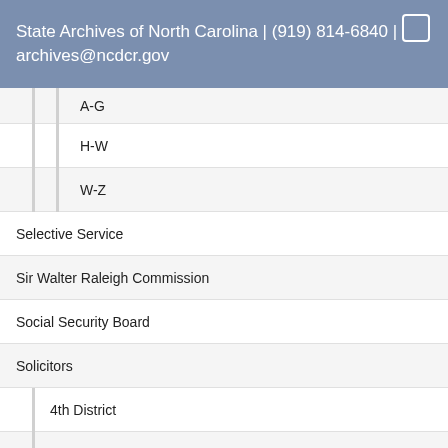State Archives of North Carolina | (919) 814-6840 | archives@ncdcr.gov
A-G
H-W
W-Z
Selective Service
Sir Walter Raleigh Commission
Social Security Board
Solicitors
4th District
5th District
6th District
8th District
9th District